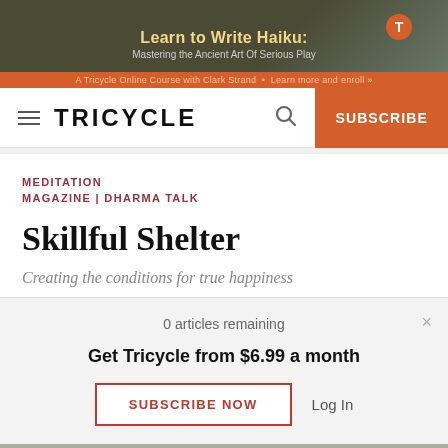[Figure (screenshot): Banner ad for Tricycle Online Course: Learn to Write Haiku: Mastering the Ancient Art Of Serious Play with Clark Strand]
TRICYCLE | SUBSCRIBE
MEDITATION
MAGAZINE | DHARMA TALK
Skillful Shelter
Creating the conditions for true happiness
0 articles remaining
Get Tricycle from $6.99 a month
SUBSCRIBE NOW   Log In